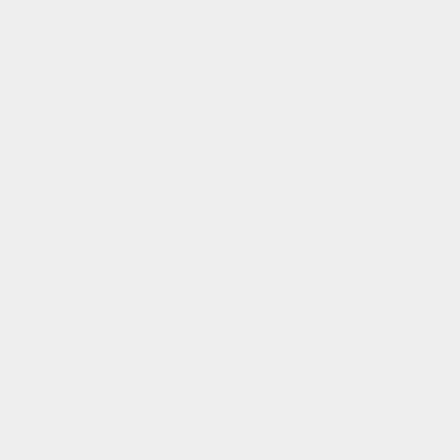|  | req-granuleid: USC-prelim-title5-section552a&num=0&edition=prelim 552a(e)(7]). Such ... | req-granuleid: USC-prelim-title5-section552a&num=0&edition=prelim 552a(e)(7]). Such ... |
| --- | --- | --- |